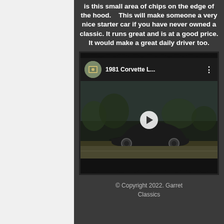is this small area of chips on the edge of the hood.    This will make someone a very nice starter car if you have never owned a classic. It runs great and is at a good price. It would make a great daily driver too.
[Figure (screenshot): YouTube video embed showing a 1981 Corvette. The video thumbnail shows a dark Corvette car on a road. The video title bar shows '1981 Corvette L...' with a channel thumbnail on left and more options dots on right. A play button is centered on the thumbnail.]
© Copyright 2022. Garret Classics